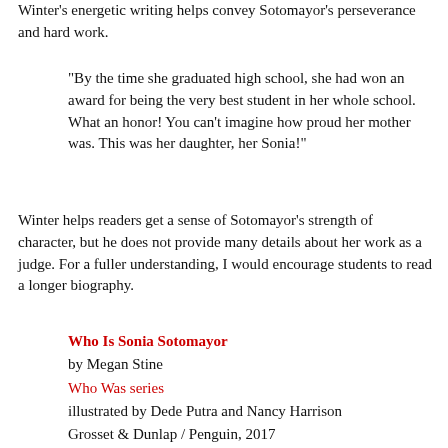Winter's energetic writing helps convey Sotomayor's perseverance and hard work.
"By the time she graduated high school, she had won an award for being the very best student in her whole school. What an honor! You can't imagine how proud her mother was. This was her daughter, her Sonia!"
Winter helps readers get a sense of Sotomayor’s strength of character, but he does not provide many details about her work as a judge. For a fuller understanding, I would encourage students to read a longer biography.
Who Is Sonia Sotomayor
by Megan Stine
Who Was series
illustrated by Dede Putra and Nancy Harrison
Grosset & Dunlap / Penguin, 2017
Amazon / Your local library